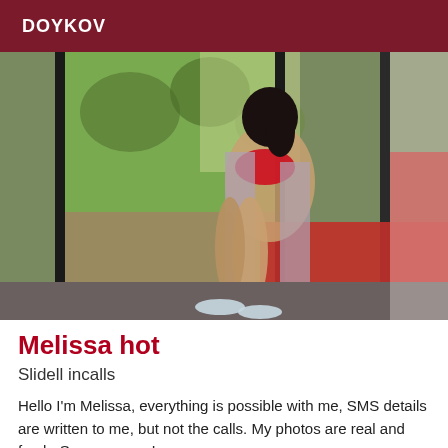DOYKOV
[Figure (photo): A woman in a red bikini and open grey robe sitting on a lounge chair near large windows with a garden view outside]
Melissa hot
Slidell incalls
Hello I'm Melissa, everything is possible with me, SMS details are written to me, but not the calls. My photos are real and fresh. See you soon!